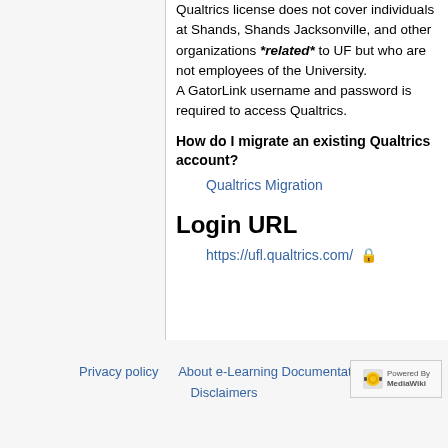Qualtrics license does not cover individuals at Shands, Shands Jacksonville, and other organizations *related* to UF but who are not employees of the University. A GatorLink username and password is required to access Qualtrics.
How do I migrate an existing Qualtrics account?
Qualtrics Migration
Login URL
https://ufl.qualtrics.com/ 🔒
Privacy policy   About e-Learning Documentation   Disclaimers
[Figure (logo): Powered by MediaWiki badge]